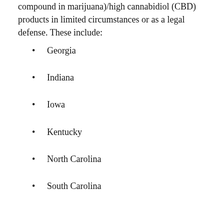compound in marijuana)/high cannabidiol (CBD) products in limited circumstances or as a legal defense. These include:
Georgia
Indiana
Iowa
Kentucky
North Carolina
South Carolina